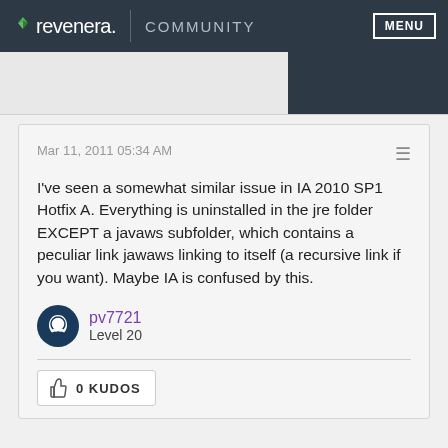revenera. COMMUNITY  MENU
Mar 11, 2011 05:34 AM
I've seen a somewhat similar issue in IA 2010 SP1 Hotfix A. Everything is uninstalled in the jre folder EXCEPT a javaws subfolder, which contains a peculiar link jawaws linking to itself (a recursive link if you want). Maybe IA is confused by this.
pv7721
Level 20
0 KUDOS